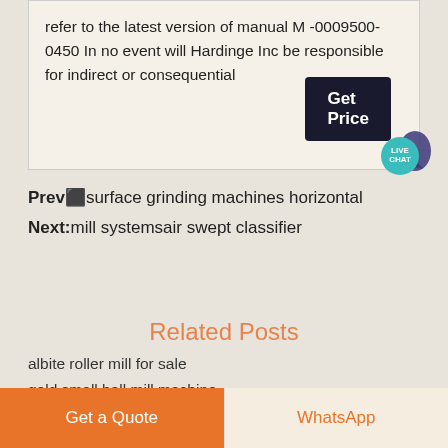refer to the latest version of manual M -0009500-0450 In no event will Hardinge Inc be responsible for indirect or consequential
Prevâsurface grinding machines horizontal
Next:mill systemsair swept classifier
Related Posts
albite roller mill for sale
gold small ball mill machine
cnc milling machine types
72 horizontal belt grinder crusher machine for sale
calculation grinding youtube
dolomite powder grinding mill in south africa
Get a Quote   WhatsApp